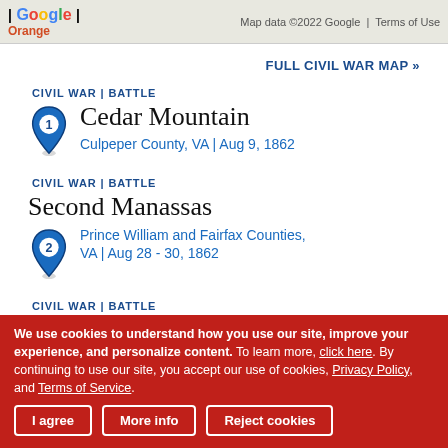[Figure (screenshot): Google Maps strip showing map tile with Google logo and 'Map data ©2022 Google  Terms of Use' text]
FULL CIVIL WAR MAP »
CIVIL WAR | BATTLE
Cedar Mountain
Culpeper County, VA  |  Aug 9, 1862
CIVIL WAR | BATTLE
Second Manassas
Prince William and Fairfax Counties, VA  |  Aug 28 - 30, 1862
CIVIL WAR | BATTLE
Thoroughfare Gap
Prince William County, VA  |  Aug 28...
We use cookies to understand how you use our site, improve your experience, and personalize content. To learn more, click here. By continuing to use our site, you accept our use of cookies, Privacy Policy, and Terms of Service.
I agree
More info
Reject cookies